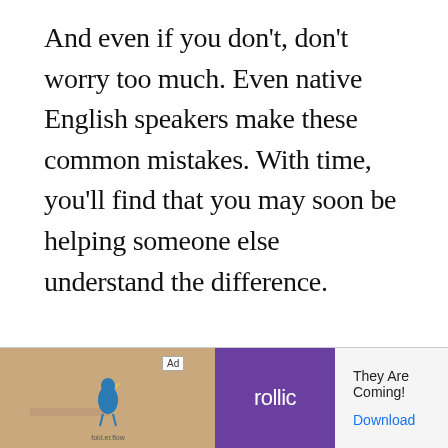And even if you don't, don't worry too much. Even native English speakers make these common mistakes. With time, you'll find that you may soon be helping someone else understand the difference.
[Figure (other): Advertisement banner at bottom of page. Shows 'Ad' label, a photo section with a wooden surface and a bird figurine, a purple box with 'rollic' logo text, and text 'They Are Coming!' with a blue 'Download' link.]